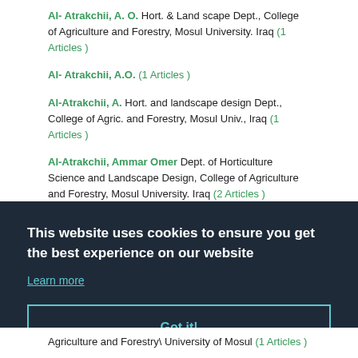Al- Atrakchii, A. O. Hort. & Land scape Dept., College of Agriculture and Forestry, Mosul University. Iraq (1 Articles )
Al- Atrakchii, A.O. (1 Articles )
Al-Atrakchii, A. Hort. and landscape design Dept., College of Agric. and Forestry, Mosul Univ., Iraq (1 Articles )
Al-Atrakchii, Ammar Omer Dept. of Horticulture Science and Landscape Design, College of Agriculture and Forestry, Mosul University. Iraq (2 Articles )
This website uses cookies to ensure you get the best experience on our website
Learn more
Got it!
Agriculture and Forestry\ University of Mosul (1 Articles )